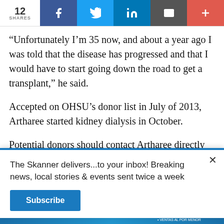12 SHARES | Share on Facebook | Share on Twitter | Share on LinkedIn | Email | More
“Unfortunately I’m 35 now, and about a year ago I was told that the disease has progressed and that I would have to start going down the road to get a transplant,” he said.
Accepted on OHSU’s donor list in July of 2013, Artharee started kidney dialysis in October.
Potential donors should contact Artharee directly to get
The Skanner delivers...to your inbox! Breaking news, local stories & events sent twice a week
Subscribe
[Figure (other): Advertisement for Constant Staffing: ESTAMOS CONTRATANDO (We are hiring), BILINGUES, listing job types: TRABAJOS EN GENERAL, TRABAJADORES DE BODEGA, EMPACADORES, CONDUCTORES DE MONTACARGAS, VENTAS AL POR MENOR, PERSONAL ADMINISTRATIVO. Phone: 713-714-8909]